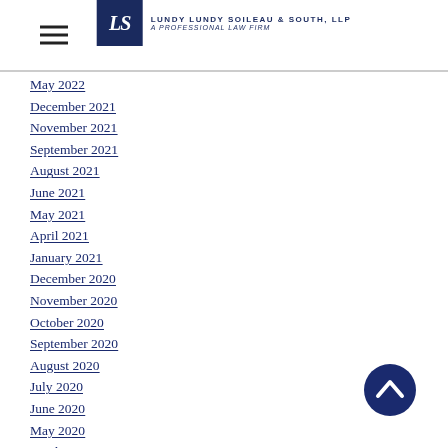Lundy Lundy Soileau & South, LLP A Professional Law Firm
May 2022
December 2021
November 2021
September 2021
August 2021
June 2021
May 2021
April 2021
January 2021
December 2020
November 2020
October 2020
September 2020
August 2020
July 2020
June 2020
May 2020
April 2020
March 2020